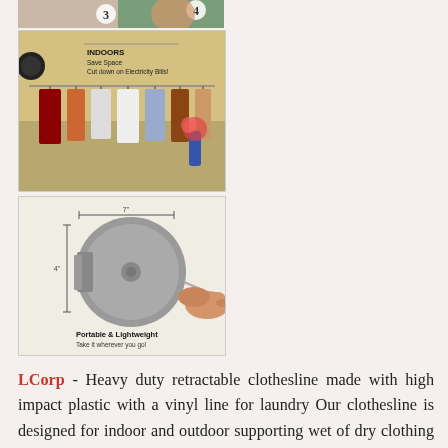[Figure (photo): Top cropped image showing numbered items 3 and 4 with a person's face partially visible]
[Figure (photo): Indoor clothesline image showing hanging clothes on a retractable line with text 'INDOORS Save Space Cut down on Electricity Bills']
[Figure (photo): Product image of a retractable clothesline reel with dimension markings and a hand pulling the line, labeled 'Portable & Lightweight Take it wherever you go!']
LCorp - Heavy duty retractable clothesline made with high impact plastic with a vinyl line for laundry Our clothesline is designed for indoor and outdoor supporting wet of dry clothing use and can be used throughout all climates rain snow heat etc Can easily support a capacity of 30 lbs of clothing and retracts up to 40ft of clothing...